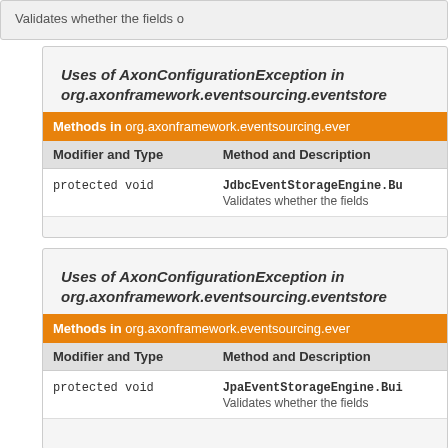Validates whether the fields o
Uses of AxonConfigurationException in org.axonframework.eventsourcing.eventstore
| Modifier and Type | Method and Description |
| --- | --- |
| protected void | JdbcEventStorageEngine.Bu
Validates whether the fields |
Uses of AxonConfigurationException in org.axonframework.eventsourcing.eventstore
| Modifier and Type | Method and Description |
| --- | --- |
| protected void | JpaEventStorageEngine.Bui
Validates whether the fields |